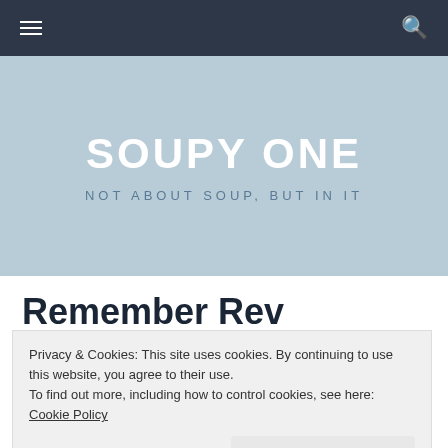SOUPY ONE — navigation bar with hamburger menu and search icon
SOUPY ONE
NOT ABOUT SOUP, BUT IN IT
Remember Rev
Privacy & Cookies: This site uses cookies. By continuing to use this website, you agree to their use.
To find out more, including how to control cookies, see here: Cookie Policy
Close and accept
Rev. Stephen Sizer is no novice in terms of racism.